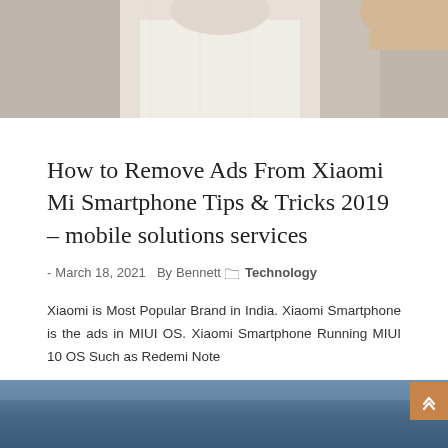[Figure (photo): Photo of a person in a white shirt, partial view, with a hand visible in the upper right corner. Neutral gray/beige background tones.]
How to Remove Ads From Xiaomi Mi Smartphone Tips & Tricks 2019 – mobile solutions services
- March 18, 2021  By Bennett  Technology
Xiaomi is Most Popular Brand in India. Xiaomi Smartphone is the ads in MIUI OS. Xiaomi Smartphone Running MIUI 10 OS Such as Redemi Note
SHARE
[Figure (photo): Blue sky with soft gradient, partial view at the bottom of the page.]